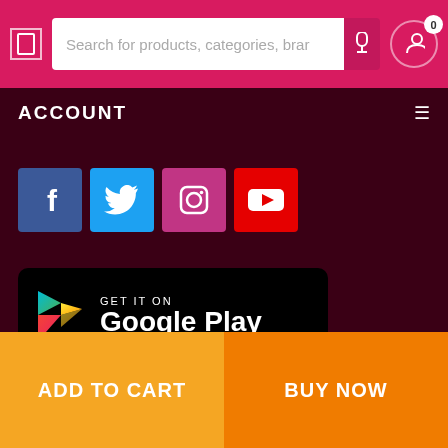Search for products, categories, bran
ACCOUNT
[Figure (screenshot): Social media share buttons: Facebook (blue), Twitter (light blue), Instagram (pink), YouTube (red)]
[Figure (logo): GET IT ON Google Play button - black rounded rectangle with Play triangle logo and text]
GearWale © 2020 || Made With ♥ in India
[Figure (screenshot): Payment method icons: VISA, PayPal, DISCOVER, Maestro, MasterCard, American Express]
ADD TO CART
BUY NOW